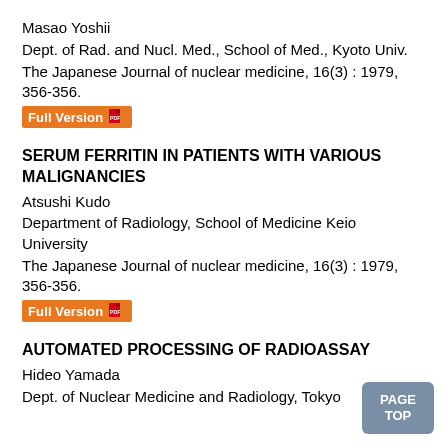Masao Yoshii
Dept. of Rad. and Nucl. Med., School of Med., Kyoto Univ.
The Japanese Journal of nuclear medicine, 16(3) : 1979, 356-356.
Full Version
SERUM FERRITIN IN PATIENTS WITH VARIOUS MALIGNANCIES
Atsushi Kudo
Department of Radiology, School of Medicine Keio University
The Japanese Journal of nuclear medicine, 16(3) : 1979, 356-356.
Full Version
AUTOMATED PROCESSING OF RADIOASSAY
Hideo Yamada
Dept. of Nuclear Medicine and Radiology, Tokyo